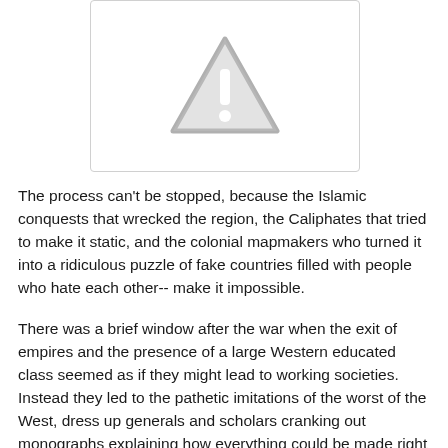[Figure (other): Warning/alert triangle icon with exclamation mark, gray colored, inside a white rounded rectangle with light gray border]
The process can't be stopped, because the Islamic conquests that wrecked the region, the Caliphates that tried to make it static, and the colonial mapmakers who turned it into a ridiculous puzzle of fake countries filled with people who hate each other-- make it impossible.
There was a brief window after the war when the exit of empires and the presence of a large Western educated class seemed as if they might lead to working societies. Instead they led to the pathetic imitations of the worst of the West, dress up generals and scholars cranking out monographs explaining how everything could be made right with their theory. Now it's leading back to Islamism and the bloody clashes in the desert that led to this permanent state of